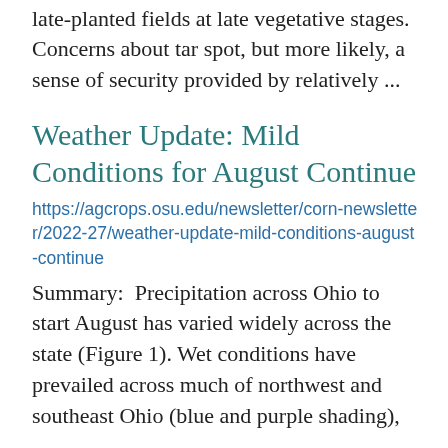late-planted fields at late vegetative stages. Concerns about tar spot, but more likely, a sense of security provided by relatively ...
Weather Update: Mild Conditions for August Continue
https://agcrops.osu.edu/newsletter/corn-newsletter/2022-27/weather-update-mild-conditions-august-continue
Summary:  Precipitation across Ohio to start August has varied widely across the state (Figure 1). Wet conditions have prevailed across much of northwest and southeast Ohio (blue and purple shading), while drier...